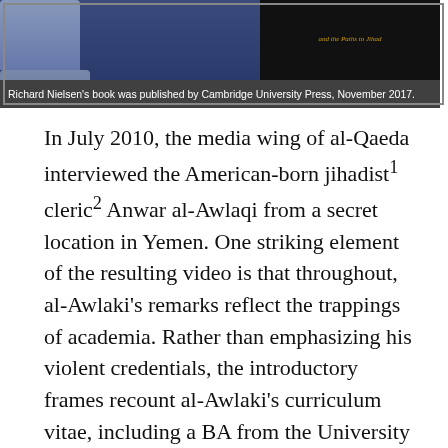[Figure (photo): Photo showing two men in formal attire on left side, and a book cover on the right side with dark background. Caption bar reads: Richard Nielsen's book was published by Cambridge University Press, November 2017.]
Richard Nielsen's book was published by Cambridge University Press, November 2017.
In July 2010, the media wing of al-Qaeda interviewed the American-born jihadist¹ cleric² Anwar al-Awlaqi from a secret location in Yemen. One striking element of the resulting video is that throughout, al-Awlaki's remarks reflect the trappings of academia. Rather than emphasizing his violent credentials, the introductory frames recount al-Awlaki's curriculum vitae, including a BA from the University of Colorado and a masters from San Diego State University.³ After welcoming him, the interviewer asks what al-Awlaki's role was in inciting Major Nidal Hasan to carry out the Fort Hood shooting in November 2009. His response? "Yes, Nidal Hasan was a student of mine and I am honored by this"